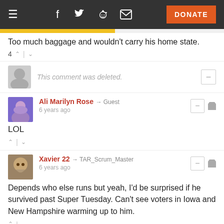≡ f 🐦 👽 ✉ DONATE
Too much baggage and wouldn't carry his home state.
This comment was deleted.
Ali Marilyn Rose → Guest
6 years ago
LOL
Xavier 22 → TAR_Scrum_Master
6 years ago
Depends who else runs but yeah, I'd be surprised if he survived past Super Tuesday. Can't see voters in Iowa and New Hampshire warming up to him.
Jor-El → Guest